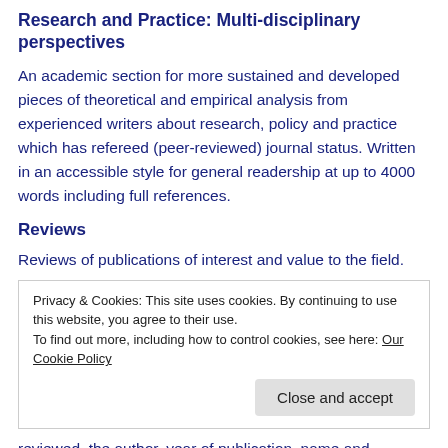Research and Practice: Multi-disciplinary perspectives
An academic section for more sustained and developed pieces of theoretical and empirical analysis from experienced writers about research, policy and practice which has refereed (peer-reviewed) journal status. Written in an accessible style for general readership at up to 4000 words including full references.
Reviews
Reviews of publications of interest and value to the field.
Privacy & Cookies: This site uses cookies. By continuing to use this website, you agree to their use.
To find out more, including how to control cookies, see here: Our Cookie Policy
reviewed, the author, year of publication, name and